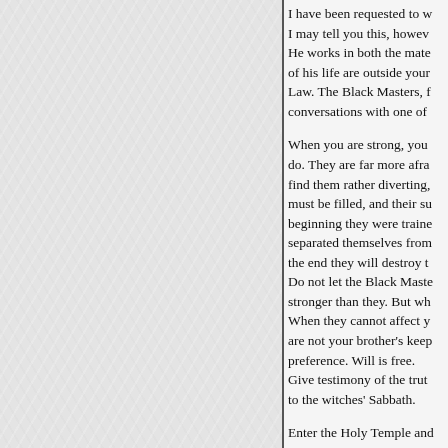I have been requested to w I may tell you this, howev He works in both the mate of his life are outside your Law. The Black Masters, f conversations with one of
When you are strong, you do. They are far more afra find them rather diverting, must be filled, and their su beginning they were traine separated themselves from the end they will destroy t Do not let the Black Maste stronger than they. But wh When they cannot affect y are not your brother's keep preference. Will is free. Give testimony of the trut to the witches' Sabbath.
Enter the Holy Temple and the music of the angel voi Be still, and know that G